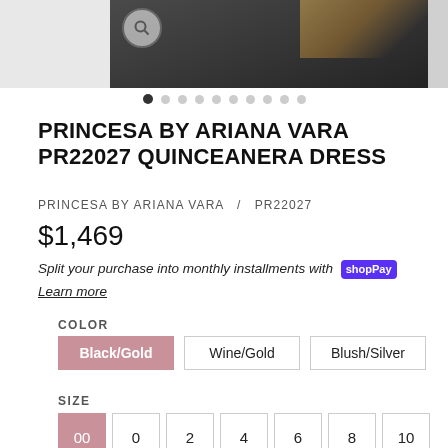[Figure (photo): Quinceanera dress product photo showing a black and gold embellished gown, with magnify icon and image carousel dots]
PRINCESA BY ARIANA VARA PR22027 QUINCEANERA DRESS
PRINCESA BY ARIANA VARA   /   PR22027
$1,469
Split your purchase into monthly installments with Shop Pay. Learn more
COLOR
Black/Gold | Wine/Gold | Blush/Silver
SIZE
00 | 0 | 2 | 4 | 6 | 8 | 10 | 12 | 14 | 16 | 18 | 20 | 22 | 24